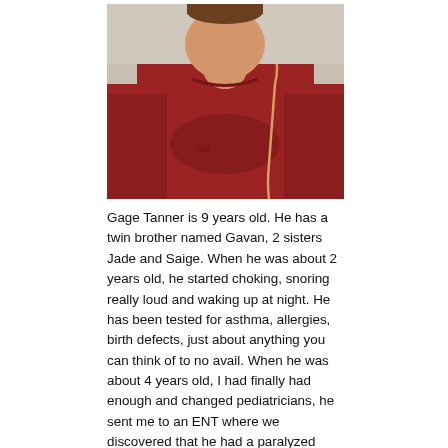[Figure (photo): A child wearing a red sweatshirt with earbuds/cord visible, photograph cropped at upper body]
Gage Tanner is 9 years old. He has a twin brother named Gavan, 2 sisters Jade and Saige. When he was about 2 years old, he started choking, snoring really loud and waking up at night. He has been tested for asthma, allergies, birth defects, just about anything you can think of to no avail. When he was about 4 years old, I had finally had enough and changed pediatricians, he sent me to an ENT where we discovered that he had a paralyzed vocal cord. The choking continued to worsen, he would choke so badly that he would vomit and stop breathing. So I took it upon myself to call Shands pediatric ENT specialist, the minute he looked at Gage, he sent me to a Laryngologist. After further investigation, and a CT scan, he referred me to a neurologist. After 4 years of failed tests, we received the worst news we